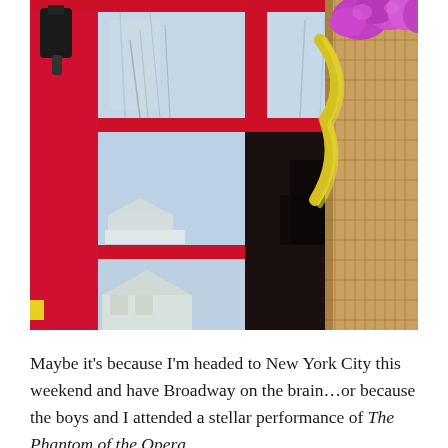[Figure (photo): A red-framed multi-pane glass door photographed from below/angle, with reflections of bare winter trees and suburban houses visible in the glass panes. On the right side, a wicker basket containing bright purple/pink tulips with a yellow ribbon is partially visible. The left side shows a small yellow element and a dark hardware piece on the red door frame.]
Maybe it's because I'm headed to New York City this weekend and have Broadway on the brain…or because the boys and I attended a stellar performance of The Phantom of the Opera